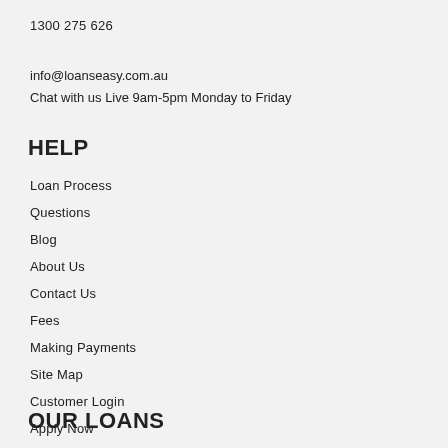1300 275 626
info@loanseasy.com.au
Chat with us Live 9am-5pm Monday to Friday
HELP
Loan Process
Questions
Blog
About Us
Contact Us
Fees
Making Payments
Site Map
Customer Login
Apply Now
OUR LOANS